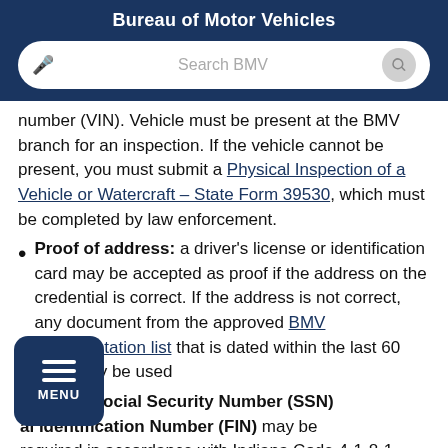Bureau of Motor Vehicles
number (VIN). Vehicle must be present at the BMV branch for an inspection. If the vehicle cannot be present, you must submit a Physical Inspection of a Vehicle or Watercraft – State Form 39530, which must be completed by law enforcement.
Proof of address: a driver's license or identification card may be accepted as proof if the address on the credential is correct. If the address is not correct, any document from the approved BMV documentation list that is dated within the last 60 days may be used
your full Social Security Number (SSN) al Identification Number (FIN) may be required in accordance with Indiana Code 4-1-8-1.